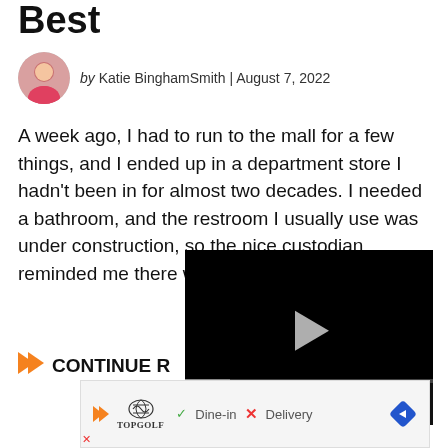Best
by Katie BinghamSmith | August 7, 2022
A week ago, I had to run to the mall for a few things, and I ended up in a department store I hadn't been in for almost two decades. I needed a bathroom, and the restroom I usually use was under construction, so the nice custodian reminded me there was one in th
CONTINUE R
[Figure (screenshot): Embedded video player with black background, play button, progress bar, and controls showing 00:41 timestamp, mute, grid, settings, and fullscreen icons]
[Figure (screenshot): Advertisement banner for Topgolf showing logo, Dine-in and Delivery options with checkmark and X, and a blue navigation arrow diamond icon]